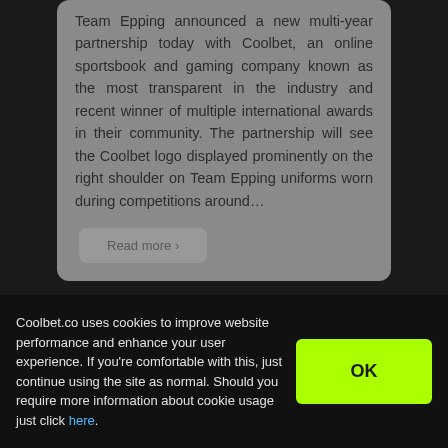Team Epping announced a new multi-year partnership today with Coolbet, an online sportsbook and gaming company known as the most transparent in the industry and recent winner of multiple international awards in their community. The partnership will see the Coolbet logo displayed prominently on the right shoulder on Team Epping uniforms worn during competitions around…
Read more ›
02.09.2019
Coolbet.co uses cookies to improve website performance and enhance your user experience. If you're comfortable with this, just continue using the site as normal. Should you require more information about cookie usage just click here.
OK